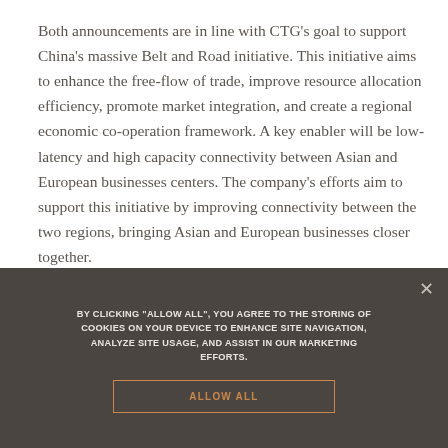Both announcements are in line with CTG's goal to support China's massive Belt and Road initiative. This initiative aims to enhance the free-flow of trade, improve resource allocation efficiency, promote market integration, and create a regional economic co-operation framework. A key enabler will be low-latency and high capacity connectivity between Asian and European businesses centers. The company's efforts aim to support this initiative by improving connectivity between the two regions, bringing Asian and European businesses closer together.
To view the original press release visit Market Wired
Tags: 100g, china, telecom
BY CLICKING "ALLOW ALL", YOU AGREE TO THE STORING OF COOKIES ON YOUR DEVICE TO ENHANCE SITE NAVIGATION, ANALYZE SITE USAGE, AND ASSIST IN OUR MARKETING EFFORTS.